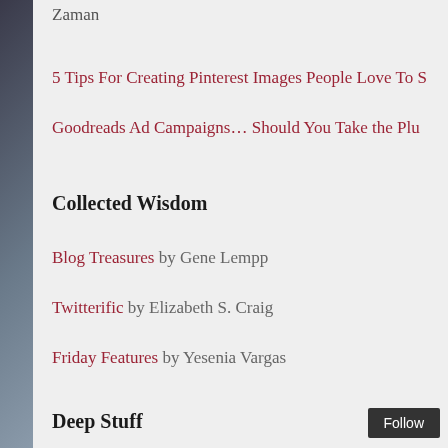Zaman
5 Tips For Creating Pinterest Images People Love To S…
Goodreads Ad Campaigns… Should You Take the Plu…
Collected Wisdom
Blog Treasures by Gene Lempp
Twitterific by Elizabeth S. Craig
Friday Features by Yesenia Vargas
Deep Stuff
Motivation Like You've Never Seen It Before by Jenn…
How To Put Fear in the Back Seat by James Chartrand…
Give Yourself Permission to Be Happy …